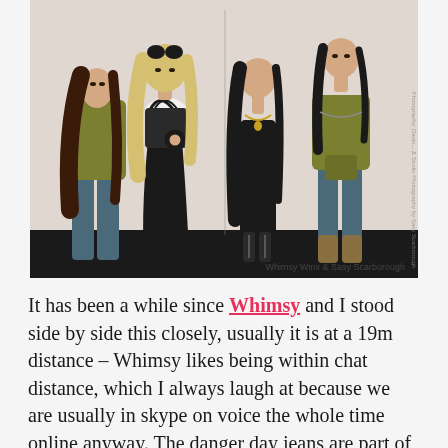[Figure (illustration): Digital fashion illustration showing four female avatars/characters side by side. Left two figures are close together: one with long brown hair wearing an olive top and jeans, one with blonde hair wearing a black and white zebra-print scarf and dark outfit. Right side shows two more figures: one in a black bodysuit and one in an olive top with jeans and boots. Image has a watermark/credit on the right side. Caption at bottom right reads 'Whimsy Winx & Sasy Scarborough'.]
Whimsy Winx & Sasy Scarborough
It has been a while since Whimsy and I stood side by side this closely, usually it is at a 19m distance – Whimsy likes being within chat distance, which I always laugh at because we are usually in skype on voice the whole time online anyway. The danger day jeans are part of the Miseria release for My Attic @ The Deck, which only has about 19 hours left until it closes for this